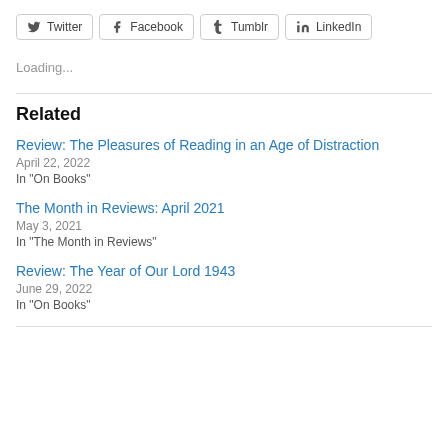[Figure (other): Social share buttons: Twitter, Facebook, Tumblr, LinkedIn]
Loading...
Related
Review: The Pleasures of Reading in an Age of Distraction
April 22, 2022
In "On Books"
The Month in Reviews: April 2021
May 3, 2021
In "The Month in Reviews"
Review: The Year of Our Lord 1943
June 29, 2022
In "On Books"